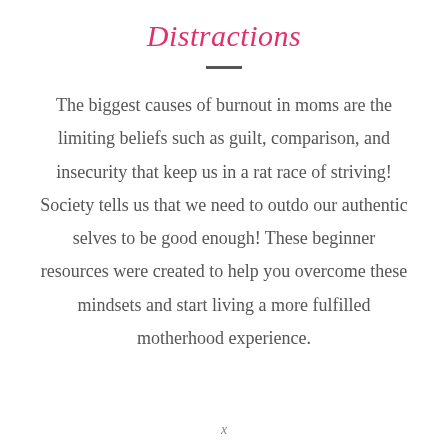Distractions
The biggest causes of burnout in moms are the limiting beliefs such as guilt, comparison, and insecurity that keep us in a rat race of striving! Society tells us that we need to outdo our authentic selves to be good enough! These beginner resources were created to help you overcome these mindsets and start living a more fulfilled motherhood experience.
x